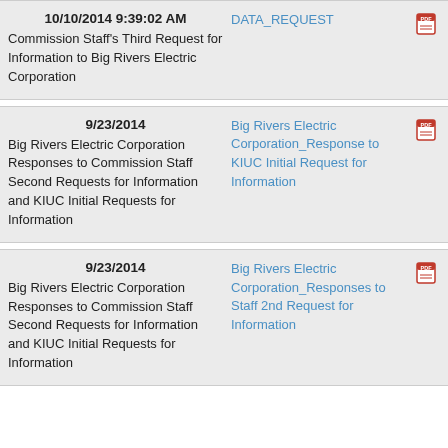| Date / Description | Document Link | PDF |
| --- | --- | --- |
| 10/10/2014 9:39:02 AM
Commission Staff's Third Request for Information to Big Rivers Electric Corporation | DATA_REQUEST | PDF |
| 9/23/2014
Big Rivers Electric Corporation Responses to Commission Staff Second Requests for Information and KIUC Initial Requests for Information | Big Rivers Electric Corporation_Response to KIUC Initial Request for Information | PDF |
| 9/23/2014
Big Rivers Electric Corporation Responses to Commission Staff Second Requests for Information and KIUC Initial Requests for Information | Big Rivers Electric Corporation_Responses to Staff 2nd Request for Information | PDF |